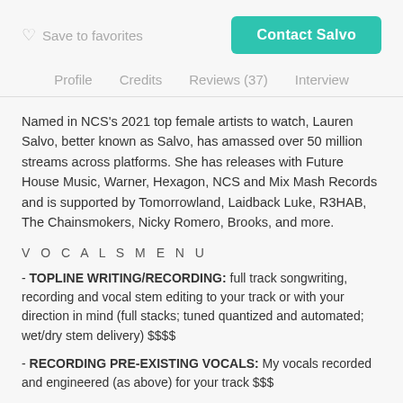Save to favorites   Contact Salvo
Profile   Credits   Reviews (37)   Interview
Named in NCS's 2021 top female artists to watch, Lauren Salvo, better known as Salvo, has amassed over 50 million streams across platforms. She has releases with Future House Music, Warner, Hexagon, NCS and Mix Mash Records and is supported by Tomorrowland, Laidback Luke, R3HAB, The Chainsmokers, Nicky Romero, Brooks, and more.
V O C A L S M E N U
- TOPLINE WRITING/RECORDING: full track songwriting, recording and vocal stem editing to your track or with your direction in mind (full stacks; tuned quantized and automated; wet/dry stem delivery) $$$$
- RECORDING PRE-EXISTING VOCALS: My vocals recorded and engineered (as above) for your track $$$
- BACKGROUND VOCALS: dbls/harms and adlibs for your track $$